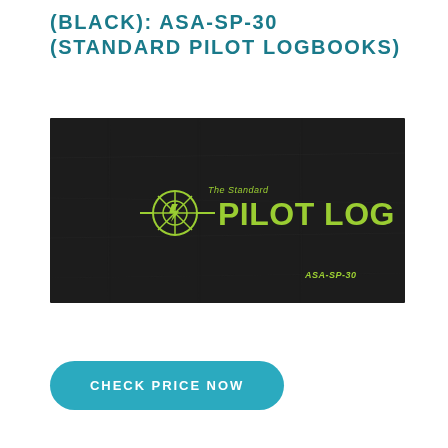(BLACK): ASA-SP-30 (STANDARD PILOT LOGBOOKS)
[Figure (photo): Black leather-look pilot logbook cover with 'The Standard PILOT LOG' text and ASA logo in yellow-green (lime), and 'ASA-SP-30' label in the lower right corner]
CHECK PRICE NOW